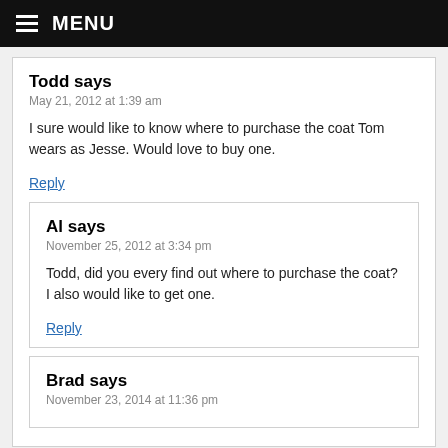MENU
Todd says
May 21, 2012 at 1:39 am
I sure would like to know where to purchase the coat Tom wears as Jesse. Would love to buy one.
Reply
Al says
November 25, 2012 at 3:34 pm
Todd, did you every find out where to purchase the coat? I also would like to get one.
Reply
Brad says
November 23, 2014 at 11:36 pm